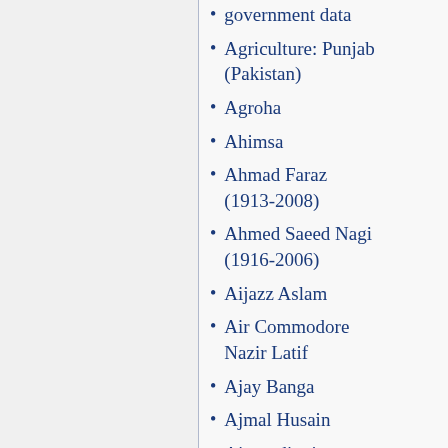government data
Agriculture: Punjab (Pakistan)
Agroha
Ahimsa
Ahmad Faraz (1913-2008)
Ahmed Saeed Nagi (1916-2006)
Aijazz Aslam
Air Commodore Nazir Latif
Ajay Banga
Ajmal Husain
Ajmer district
Ajmer Sharif
Akbarpura, Khyber-Pakhtunkhwa